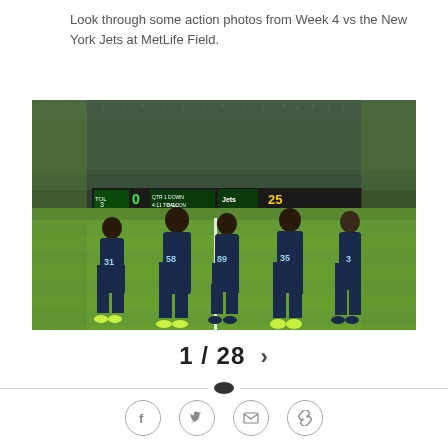Look through some action photos from Week 4 vs the New York Jets at MetLife Field.
[Figure (photo): Seattle Seahawks players including numbers 31, 58, 89, 35, and 3 walking on the field at MetLife Stadium during Week 4 game vs the New York Jets, with a packed stadium crowd in the background]
1 / 28 >
Social share icons: Facebook, Twitter, Email, Link